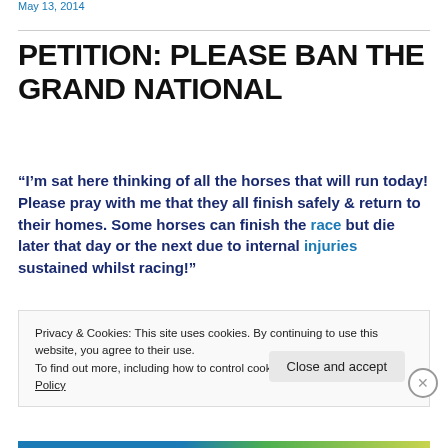May 13, 2014
PETITION: PLEASE BAN THE GRAND NATIONAL
“I’m sat here thinking of all the horses that will run today! Please pray with me that they all finish safely & return to their homes. Some horses can finish the race but die later that day or the next due to internal injuries sustained whilst racing!”
Privacy & Cookies: This site uses cookies. By continuing to use this website, you agree to their use.
To find out more, including how to control cookies, see here: Cookie Policy